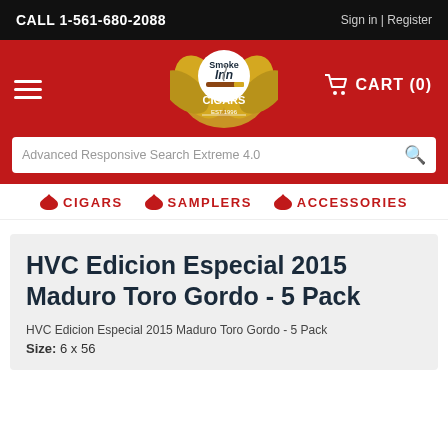CALL 1-561-680-2088 | Sign in | Register
[Figure (logo): Smoke Inn Cigars logo with tobacco leaf and cigar, EST. 1996]
CART (0)
Advanced Responsive Search Extreme 4.0
CIGARS  SAMPLERS  ACCESSORIES
HVC Edicion Especial 2015 Maduro Toro Gordo - 5 Pack
HVC Edicion Especial 2015 Maduro Toro Gordo - 5 Pack
Size: 6 x 56